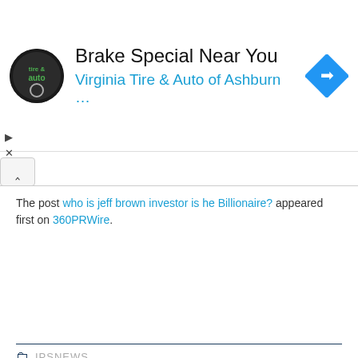[Figure (infographic): Advertisement banner: Virginia Tire & Auto of Ashburn with logo and navigation arrow icon. Title: Brake Special Near You. Subtitle: Virginia Tire & Auto of Ashburn ...]
The post who is jeff brown investor is he Billionaire? appeared first on 360PRWire.
IPSNEWS
[Figure (photo): Default user avatar/profile image placeholder in grey showing silhouette of a person]
ADAM ALI
MORE POSTS
PREVIOUS ARTICLE
NEXT ARTICLE